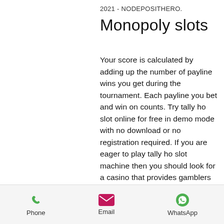2021 - NODEPOSITHERO.
Monopoly slots
Your score is calculated by adding up the number of payline wins you get during the tournament. Each payline you bet and win on counts. Try tally ho slot online for free in demo mode with no download or no registration required. If you are eager to play tally ho slot machine then you should look for a casino that provides gamblers with no deposit bonus and other rewarding options. İndirme yok, kaydolma yok - sadece tıkla ve oyna. Bahis irketleri oranlar 5yiqz7. Para yatırma bonusu ile kumarhane 100 türk lisansı ile güvenli. Then make the use of jackpot magic slots cheats. Lots of players are participating in the tally-ho tournament. Tally-ho: количество очков определяется
Phone   Email   WhatsApp